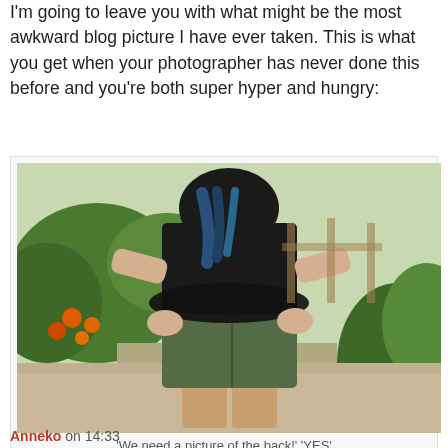I'm going to leave you with what might be the most awkward blog picture I have ever taken. This is what you get when your photographer has never done this before and you're both super hyper and hungry:
[Figure (photo): Person photographed from behind showing the back of dark green/olive shorts and a black top being lifted up, standing outdoors in a garden/path with green plants and orange flowers visible.]
'We need a picture of the back!' 'YES'
Anneke on 14:33